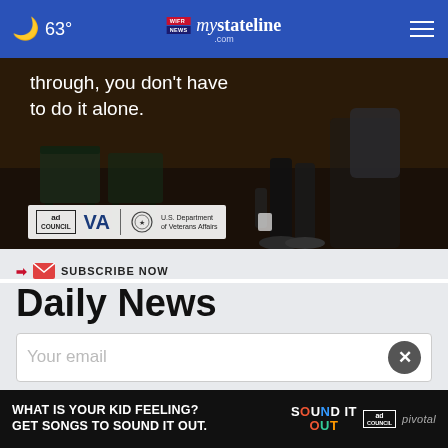🌙 63°  mystateline.com  ☰
[Figure (photo): Advertisement photo showing a person sitting alone in a waiting room with dark background, text reads 'through, you don't have to do it alone.' with Ad Council, VA, and U.S. Department of Veterans Affairs logos at the bottom]
SUBSCRIBE NOW
Daily News
Your email
[Figure (photo): Bottom advertisement banner with text 'WHAT IS YOUR KID FEELING? GET SONGS TO SOUND IT OUT.' with Sound It Out, Ad Council, and Pivotal logos]